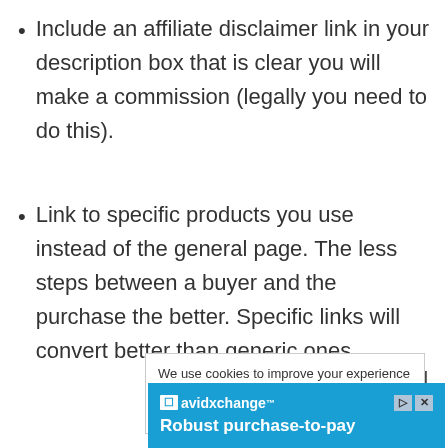Include an affiliate disclaimer link in your description box that is clear you will make a commission (legally you need to do this).
Link to specific products you use instead of the general page. The less steps between a buyer and the purchase the better. Specific links will convert better than generic ones
We use cookies to improve your experience and provide relevant ads. To find out more, read our privacy
e promoting ell something ke it. It's also
[Figure (screenshot): AvidXchange advertisement banner with blue background showing logo and tagline 'Robust purchase-to-pay']